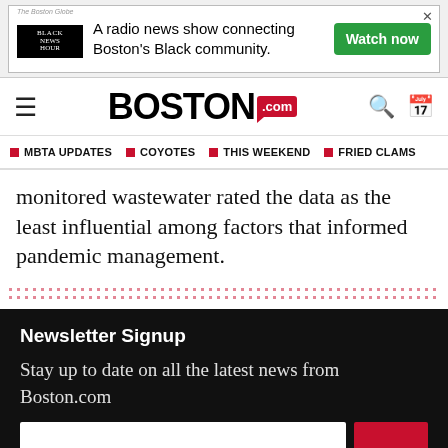[Figure (other): Advertisement banner for Black News Hour radio show: 'A radio news show connecting Boston's Black community.' with Watch now button]
BOSTON.com
MBTA UPDATES  COYOTES  THIS WEEKEND  FRIED CLAMS
monitored wastewater rated the data as the least influential among factors that informed pandemic management.
Newsletter Signup
Stay up to date on all the latest news from Boston.com